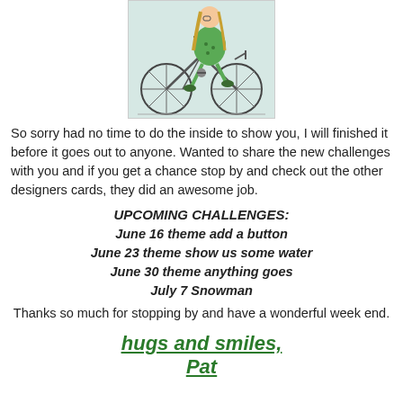[Figure (illustration): Illustration of a girl in a green dress riding a bicycle, with long blonde hair, on a light blue-grey background]
So sorry had no time to do the inside to show you, I will finished it before it goes out to anyone. Wanted to share the new challenges with you and if you get a chance stop by and check out the other designers cards, they did an awesome job.
UPCOMING CHALLENGES:
June 16 theme add a button
June 23 theme show us some water
June 30 theme anything goes
July 7 Snowman
Thanks so much for stopping by and have a wonderful week end.
hugs and smiles,
Pat